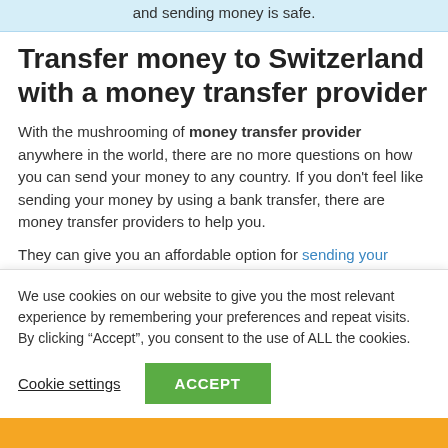and sending money is safe.
Transfer money to Switzerland with a money transfer provider
With the mushrooming of money transfer provider anywhere in the world, there are no more questions on how you can send your money to any country. If you don't feel like sending your money by using a bank transfer, there are money transfer providers to help you.
They can give you an affordable option for sending your
We use cookies on our website to give you the most relevant experience by remembering your preferences and repeat visits. By clicking “Accept”, you consent to the use of ALL the cookies.
Cookie settings
ACCEPT